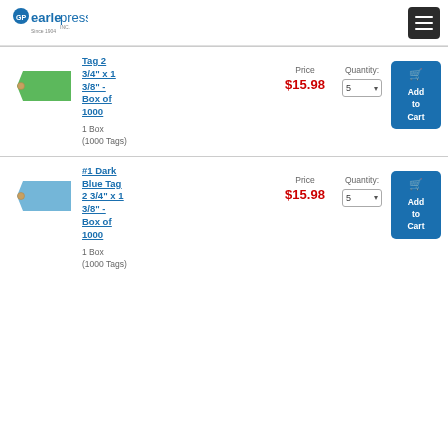[Figure (logo): Earle Press Inc. company logo with circular GP emblem and 'Since 1904' text]
[Figure (other): Hamburger menu button (three horizontal lines on dark background)]
[Figure (illustration): Green shipping tag shape]
Tag 2 3/4" x 1 3/8" - Box of 1000
Price $15.98
Quantity: 5
1 Box (1000 Tags)
[Figure (illustration): Light blue/sky blue shipping tag shape]
#1 Dark Blue Tag 2 3/4" x 1 3/8" - Box of 1000
Price $15.98
Quantity: 5
1 Box (1000 Tags)